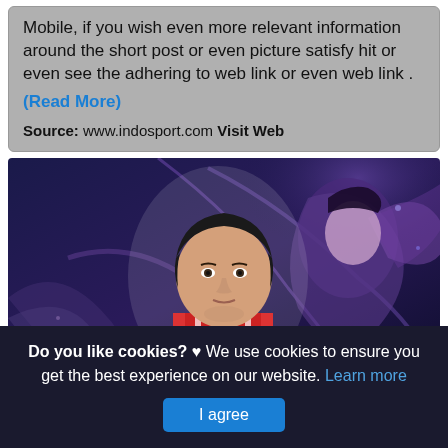Mobile, if you wish even more relevant information around the short post or even picture satisfy hit or even see the adhering to web link or even web link .
(Read More)
Source: www.indosport.com Visit Web
[Figure (photo): A young Asian man in a red jersey with white stripes stands in front of a fantasy game artwork background featuring a dark-haired female character with purple magical effects and wings.]
Do you like cookies? ♥ We use cookies to ensure you get the best experience on our website. Learn more
I agree